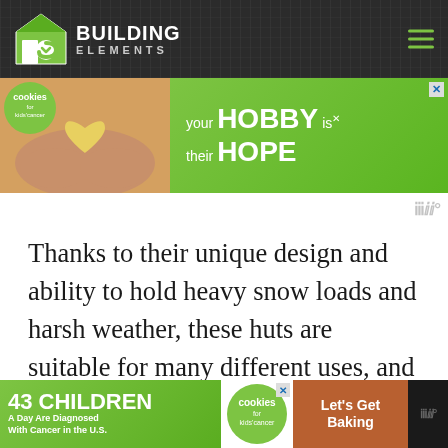BUILDING ELEMENTS
[Figure (advertisement): Cookies for Kids Cancer advertisement banner: 'your HOBBY is their HOPE' with green background and photo of hands holding heart cookie]
[Figure (advertisement): Moat analytics watermark in gray]
Thanks to their unique design and ability to hold heavy snow loads and harsh weather, these huts are suitable for many different uses, and because they are cost-effective, you can sometimes benefit from having multiple buildings.
[Figure (advertisement): Cookies for Kids Cancer bottom banner: '43 CHILDREN A Day Are Diagnosed With Cancer in the U.S.' with Let's Get Baking call to action]